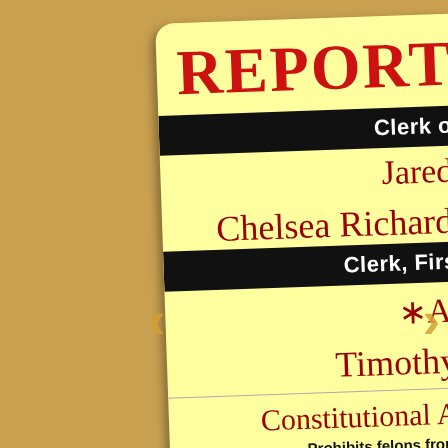REPORT
Clerk of C
Jared B
Chelsea Richard N
Clerk, First C
*Aust
Timothy D
Constitutional Ame
Prohibits felons from runn
stitutional Ame